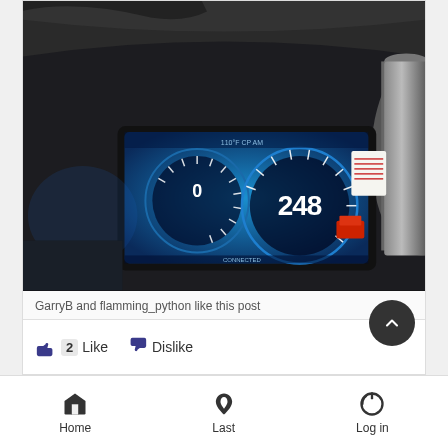[Figure (photo): Car interior dashboard photo showing a digital instrument cluster screen with blue speedometer/tachometer gauges displaying 248, visible steering wheel at top, dark interior, red object visible to the right of the screen]
GarryB and flamming_python like this post
👍 2   Like   👎  Dislike
Home   Last   Log in